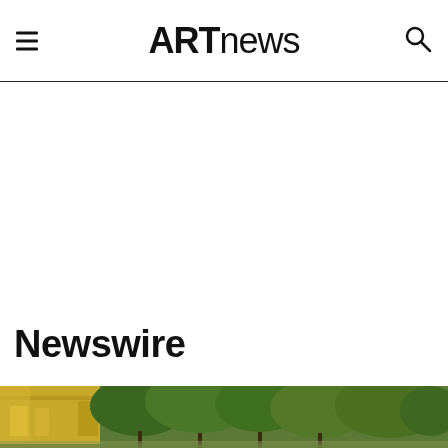ARTnews
Newswire
[Figure (photo): Street-level photograph showing a building facade on the left with a yellow-green storefront and trees in the background against a green urban scene]